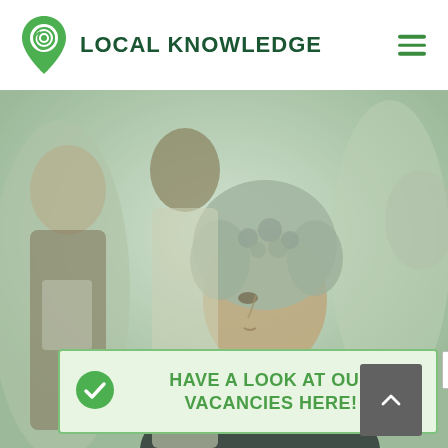[Figure (logo): Local Knowledge company logo with green location pin icon and dark green bold text reading LOCAL KNOWLEDGE]
[Figure (photo): Hero photo of diverse group of professionals, primarily showing a middle-aged woman with curly grey hair in profile, with a muted/desaturated green overlay effect]
HAVE A LOOK AT OUR VACANCIES HERE!